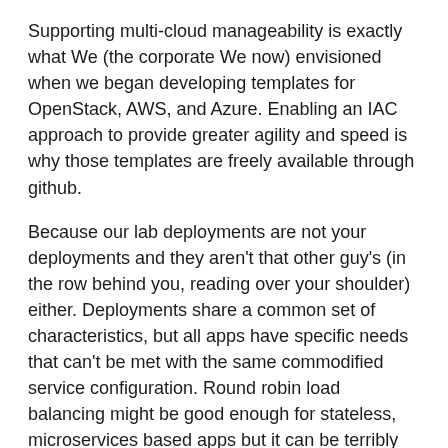Supporting multi-cloud manageability is exactly what We (the corporate We now) envisioned when we began developing templates for OpenStack, AWS, and Azure. Enabling an IAC approach to provide greater agility and speed is why those templates are freely available through github.
Because our lab deployments are not your deployments and they aren't that other guy's (in the row behind you, reading over your shoulder) either. Deployments share a common set of characteristics, but all apps have specific needs that can't be met with the same commodified service configuration. Round robin load balancing might be good enough for stateless, microservices based apps but it can be terribly inefficient (not to mention expensive) for other application architectures – particularly in cloud environments. You need the freedom to adapt and optimize app performance and ensure the security of data and the safety of user interactions.
You need to be able to pull, clone, and commit those artifacts to your own repositories so you can reap the benefits of a